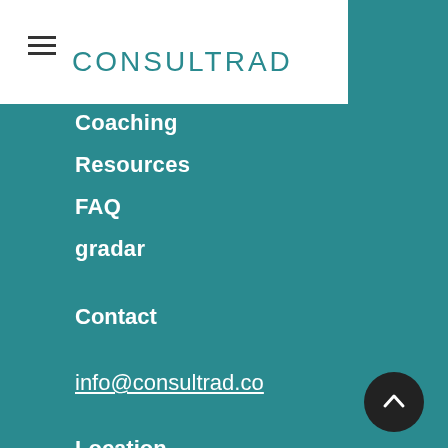[Figure (logo): Consultrad logo — teal geometric sans-serif wordmark reading CONSULTRAD]
Coaching
Resources
FAQ
gradar
Contact
info@consultrad.co
Location
Mauritius
Mozambique